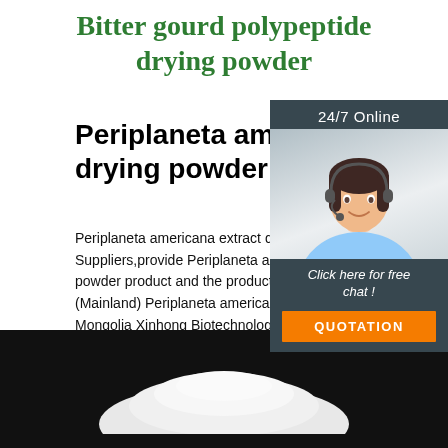Bitter gourd polypeptide drying powder
Periplaneta americana extract drying powder price,buy ...
Periplaneta americana extract drying powder Suppliers,provide Periplaneta americana extract powder product and the products related with China (Mainland) Periplaneta americana extract drying Mongolia Xinhong Biotechnology Co., Ltd. China
[Figure (other): Customer service chat widget with 24/7 Online label, photo of female customer service representative with headset, 'Click here for free chat!' text, and orange QUOTATION button]
[Figure (other): Green 'Get Price' button]
[Figure (other): TOP badge with orange dots and text]
[Figure (photo): Dark background with white powder mound at bottom of page]